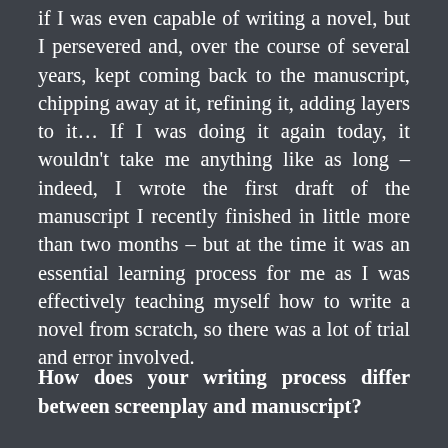if I was even capable of writing a novel, but I persevered and, over the course of several years, kept coming back to the manuscript, chipping away at it, refining it, adding layers to it… If I was doing it again today, it wouldn't take me anything like as long – indeed, I wrote the first draft of the manuscript I recently finished in little more than two months – but at the time it was an essential learning process for me as I was effectively teaching myself how to write a novel from scratch, so there was a lot of trial and error involved.
How does your writing process differ between screenplay and manuscript?